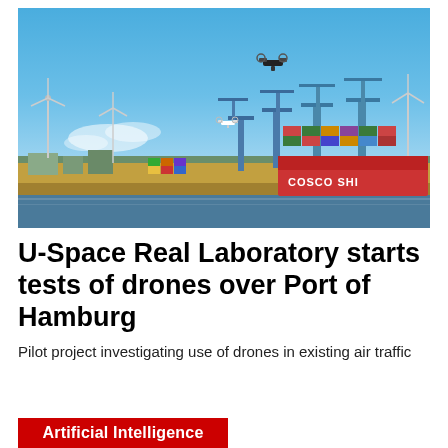[Figure (photo): Aerial photo of two drones flying over the Port of Hamburg with cranes, cargo containers, and a COSCO SHIPPING vessel visible in the background under a blue sky.]
U-Space Real Laboratory starts tests of drones over Port of Hamburg
Pilot project investigating use of drones in existing air traffic
Artificial Intelligence